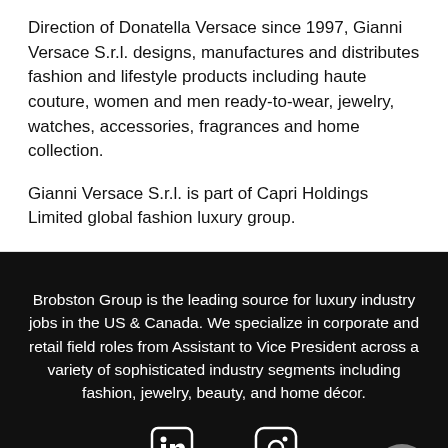Direction of Donatella Versace since 1997, Gianni Versace S.r.l. designs, manufactures and distributes fashion and lifestyle products including haute couture, women and men ready-to-wear, jewelry, watches, accessories, fragrances and home collection.
Gianni Versace S.r.l. is part of Capri Holdings Limited global fashion luxury group.
Brobston Group is the leading source for luxury industry jobs in the US & Canada. We specialize in corporate and retail field roles from Assistant to Vice President across a variety of sophisticated industry segments including fashion, jewelry, beauty, and home décor.
[Figure (illustration): LinkedIn logo icon (white on dark background) and Instagram logo icon (white on dark background), displayed side by side at the bottom of the page. A gray chat bubble button is positioned at bottom right.]